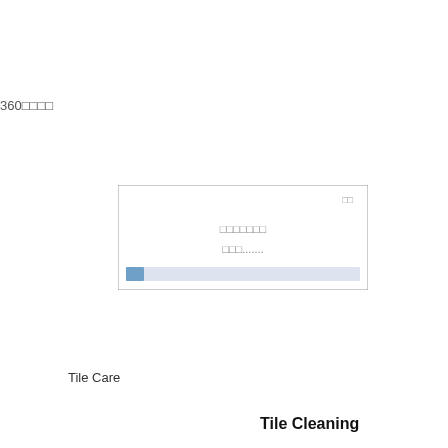360□□□□
[Figure (screenshot): A dialog box with a border showing text '□□□□□□□' and '□□□.......' with a progress bar at the bottom that is partially filled (blue on the left, light gray filling the rest). A small '□□' label appears in the top right corner of the dialog.]
Tile Care
Tile Cleaning